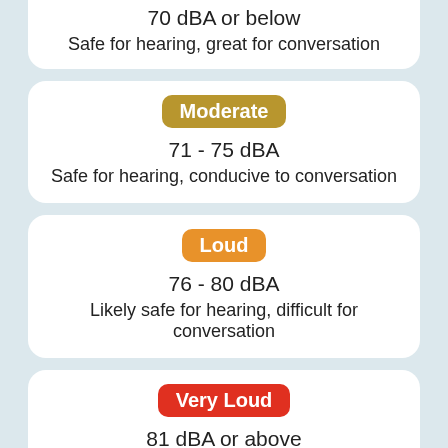70 dBA or below
Safe for hearing, great for conversation
Moderate
71 - 75 dBA
Safe for hearing, conducive to conversation
Loud
76 - 80 dBA
Likely safe for hearing, difficult for conversation
Very Loud
81 dBA or above
Not safe for hearing, exposure can cause